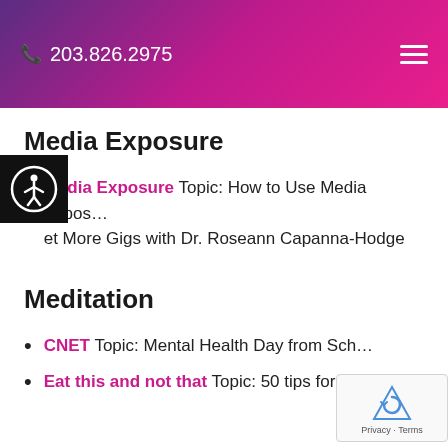📞 203.826.2975
Media Exposure
Media Exposure Topic: How to Use Media Exposure to Get More Gigs with Dr. Roseann Capanna-Hodge
Meditation
CNET Topic: Mental Health Day from School
Eat this and not that Topic: 50 tips for 2...